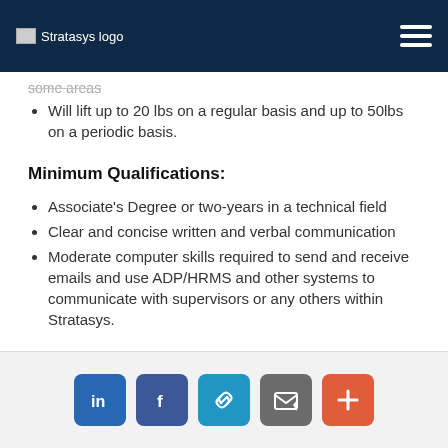Stratasys logo
some areas (truncated/strikethrough)
Will lift up to 20 lbs on a regular basis and up to 50lbs on a periodic basis.
Minimum Qualifications:
Associate's Degree or two-years in a technical field
Clear and concise written and verbal communication
Moderate computer skills required to send and receive emails and use ADP/HRMS and other systems to communicate with supervisors or any others within Stratasys.
LinkedIn, Facebook, Link, Email, Plus social sharing buttons